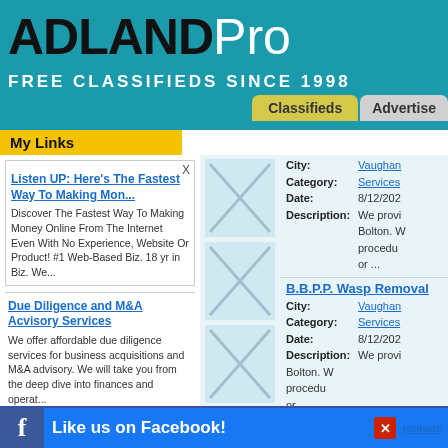ADLANDPro FREE CLASSIFIEDS SINCE 1998
My Links
Listen UP: Here's The Fastest Way To Making Mon...
Discover The Fastest Way To Making Money Online From The Internet Even With No Experience, Website Or Product! #1 Web-Based Biz. 18 yr in Biz. We...
Due Diligence and M&A Acvisory Services
We offer affordable due diligence services for business acquisitions and M&A advisory. We will take you from the deep dive into finances and operat...
Unlimited Traffic Here
Quality traffic to your we...will...FREE V... r systemClick
City: Vaughan  Category: Services  Date: 8/12/202  Description: We provid Bolton. W procedu or ...
B.B.P.P. Wasp Removal  City: Vaughan  Category: Services  Date: 8/12/202  Description: We provid Bolton. W procedu or ...
B.B.P.P. Wasp Control M  City: Vaughan  Category: Services  Date: 8/12/202  Description: We provid Brampton this proce home o...
Best House  rminate  City: Vaughan
Like us on Facebook!